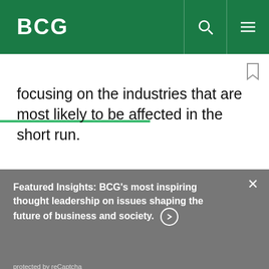BCG
focusing on the industries that are most likely to be affected in the short run.
Featured Insights: BCG's most inspiring thought leadership on issues shaping the future of business and society.
protected by reCaptcha
By using this site, you agree with our use of cookies.
I consent to cookies
Want to know more?
Read our Cookie Policy